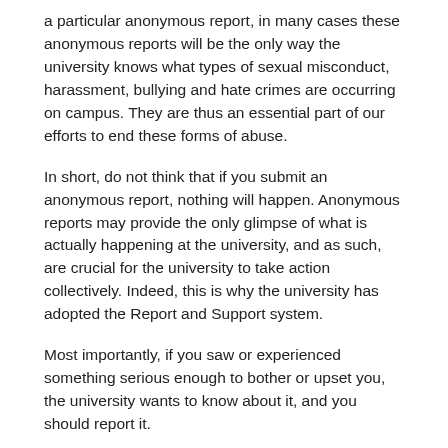a particular anonymous report, in many cases these anonymous reports will be the only way the university knows what types of sexual misconduct, harassment, bullying and hate crimes are occurring on campus. They are thus an essential part of our efforts to end these forms of abuse.
In short, do not think that if you submit an anonymous report, nothing will happen. Anonymous reports may provide the only glimpse of what is actually happening at the university, and as such, are crucial for the university to take action collectively. Indeed, this is why the university has adopted the Report and Support system.
Most importantly, if you saw or experienced something serious enough to bother or upset you, the university wants to know about it, and you should report it.
4. What is the